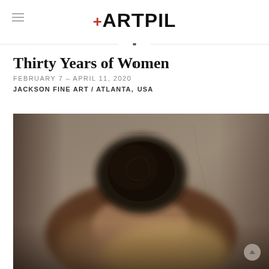ARTPIL
Thirty Years of Women
FEBRUARY 7 – APRIL 11, 2020
JACKSON FINE ART / ATLANTA, USA
[Figure (photo): A woman from behind, with dark hair in a bun resting on or near another person with lighter hair, photographed in muted warm tones against a neutral background.]